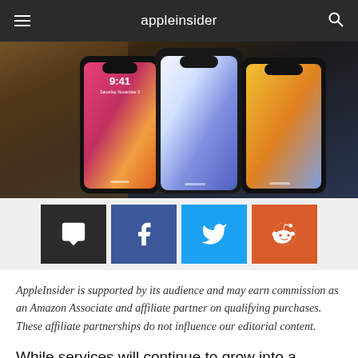appleinsider
[Figure (photo): Three iPhones (iPhone X models) displayed side by side against a dark background, showing their colorful lock screens.]
AppleInsider is supported by its audience and may earn commission as an Amazon Associate and affiliate partner on qualifying purchases. These affiliate partnerships do not influence our editorial content.
While services will continue to grow into a massive entity on its own, longtime analyst Gene